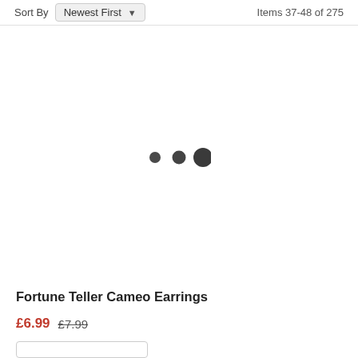Sort By  Newest First  Items 37-48 of 275
[Figure (other): Product image area with loading indicator showing three dots of increasing size]
Fortune Teller Cameo Earrings
£6.99  £7.99
Add to Bag button (partial)